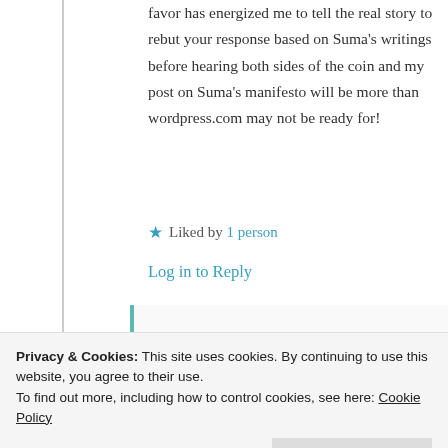favor has energized me to tell the real story to rebut your response based on Suma's writings before hearing both sides of the coin and my post on Suma's manifesto will be more than wordpress.com may not be ready for!
★ Liked by 1 person
Log in to Reply
Privacy & Cookies: This site uses cookies. By continuing to use this website, you agree to their use.
To find out more, including how to control cookies, see here: Cookie Policy
Close and accept
Thank you very much for reading a